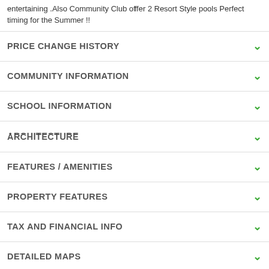entertaining .Also Community Club offer 2 Resort Style pools Perfect timing for the Summer !!
PRICE CHANGE HISTORY
COMMUNITY INFORMATION
SCHOOL INFORMATION
ARCHITECTURE
FEATURES / AMENITIES
PROPERTY FEATURES
TAX AND FINANCIAL INFO
DETAILED MAPS